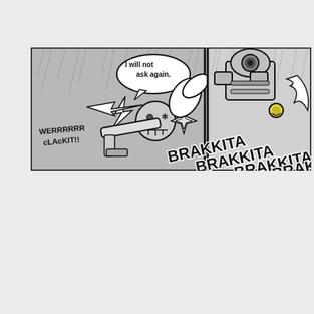[Figure (illustration): Comic strip panel showing two scenes side by side. Left panel: a skull-headed robot character being struck by lightning/electric attack with speech bubble saying 'I will not ask again.' and sound effect 'WERRRRRR cLAcKIT!!' Right panel (partially cropped): a large armored robot character firing a weapon with cascading sound effect text 'BRAKKITA BRAKKITA BRAKKITA BRAKK' overlapping across both panels.]